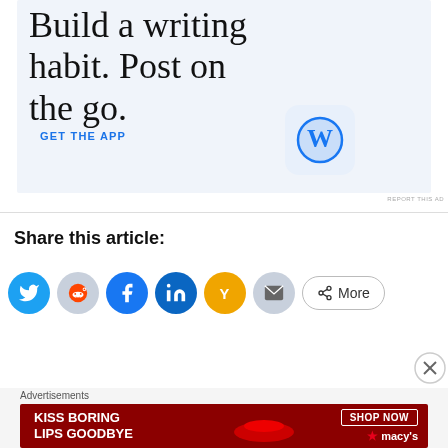[Figure (illustration): WordPress app advertisement banner with light blue background. Large serif text reads 'Build a writing habit. Post on the go.' with a 'GET THE APP' call-to-action link in blue and a WordPress logo icon on the right.]
REPORT THIS AD
Share this article:
[Figure (illustration): Social sharing icon row: Twitter (blue circle), Reddit (gray circle), Facebook (blue circle), LinkedIn (dark blue circle), Hacker News Y (orange circle), Email (gray circle), and a 'More' button with share icon.]
[Figure (illustration): Close X button circle]
Advertisements
[Figure (illustration): Macy's advertisement banner with dark red background showing 'KISS BORING LIPS GOODBYE' text with a woman's face and red lips, and a 'SHOP NOW' button with Macy's star logo.]